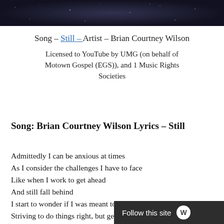[Figure (photo): Dark speckled background image at top of page]
Song – Still – Artist – Brian Courtney Wilson
Licensed to YouTube by UMG (on behalf of Motown Gospel (EGS)), and 1 Music Rights Societies
Song: Brian Courtney Wilson Lyrics – Still
Admittedly I can be anxious at times
As I consider the challenges I have to face
Like when I work to get ahead
And still fall behind
I start to wonder if I was meant to win the race
Striving to do things right, bu[t getting it]
wrong
Follow this site